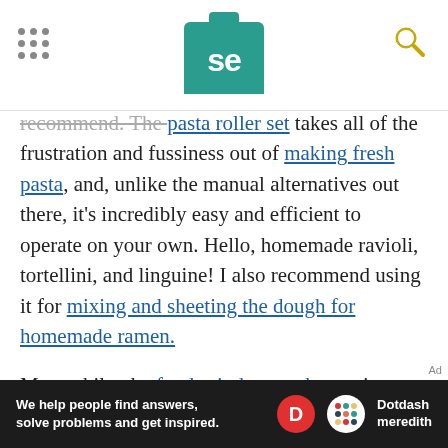SE logo header with navigation dots and search icon
recommend. The pasta roller set takes all of the frustration and fussiness out of making fresh pasta, and, unlike the manual alternatives out there, it's incredibly easy and efficient to operate on your own. Hello, homemade ravioli, tortellini, and linguine! I also recommend using it for mixing and sheeting the dough for homemade ramen.
Meanwhile, the food grinder attachment is a great option if you want to start grinding your own meat or experimenting with sausage-making. Because it's an attachment, you already know that the hardest-working part of your grinder—the motor—is going to be a workhorse that can power through even
We help people find answers, solve problems and get inspired. Dotdash meredith